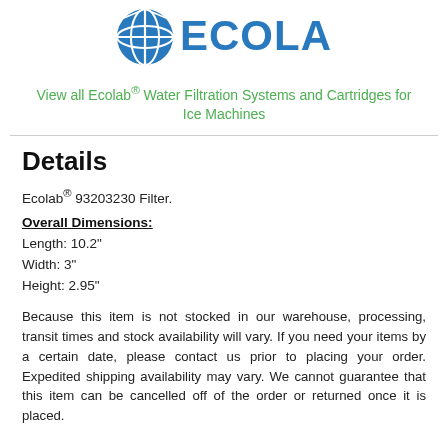[Figure (logo): Ecolab logo in blue with star/globe icon]
View all Ecolab® Water Filtration Systems and Cartridges for Ice Machines
Details
Ecolab® 93203230 Filter.
Overall Dimensions:
Length: 10.2"
Width: 3"
Height: 2.95"
Because this item is not stocked in our warehouse, processing, transit times and stock availability will vary. If you need your items by a certain date, please contact us prior to placing your order. Expedited shipping availability may vary. We cannot guarantee that this item can be cancelled off of the order or returned once it is placed.